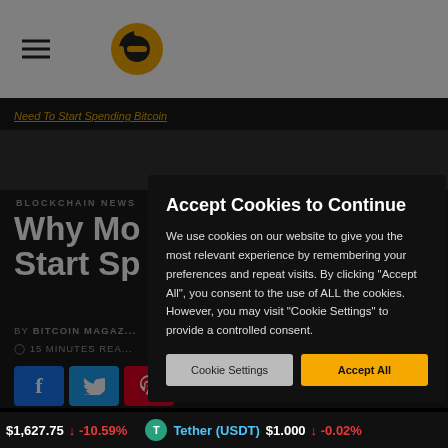COINSTREAMS
Need To Start Spending Bitcoin
BLOCKCHAIN NEWS
Why Mo... Start Sp...
BY BITCOIN MAGAZ...
15 MINUTES REA...
Accept Cookies to Continue
We use cookies on our website to give you the most relevant experience by remembering your preferences and repeat visits. By clicking "Accept All", you consent to the use of ALL the cookies. However, you may visit "Cookie Settings" to provide a controlled consent.
Cookie Settings | Accept All
$1,627.75 ↓ -10.59%    Tether (USDT) $1.000 ↓ -0.02%